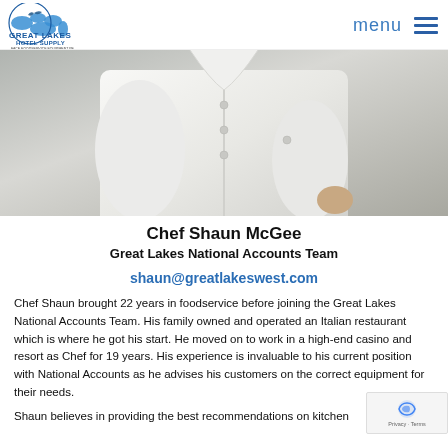Great Lakes Hotel Supply — menu
[Figure (photo): Chef in white chef coat, torso visible, gray background]
Chef Shaun McGee
Great Lakes National Accounts Team
shaun@greatlakeswest.com
Chef Shaun brought 22 years in foodservice before joining the Great Lakes National Accounts Team. His family owned and operated an Italian restaurant which is where he got his start. He moved on to work in a high-end casino and resort as Chef for 19 years. His experience is invaluable to his current position with National Accounts as he advises his customers on the correct equipment for their needs.
Shaun believes in providing the best recommendations on kitchen